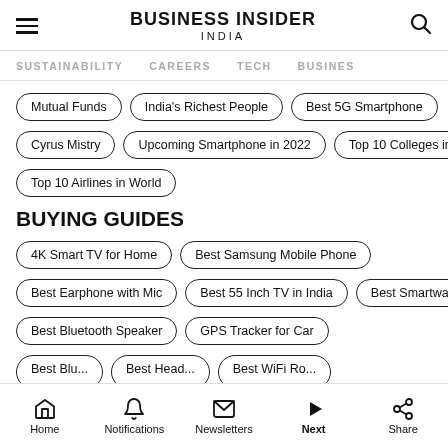BUSINESS INSIDER INDIA
SUSTAINABILITY   CAREERS   TECH   BUSINESS
Mutual Funds
India's Richest People
Best 5G Smartphone
Cyrus Mistry
Upcoming Smartphone in 2022
Top 10 Colleges in India
Top 10 Airlines in World
BUYING GUIDES
4K Smart TV for Home
Best Samsung Mobile Phone
Best Earphone with Mic
Best 55 Inch TV in India
Best Smartwatches
Best Bluetooth Speaker
GPS Tracker for Car
Home   Notifications   Newsletters   Next   Share